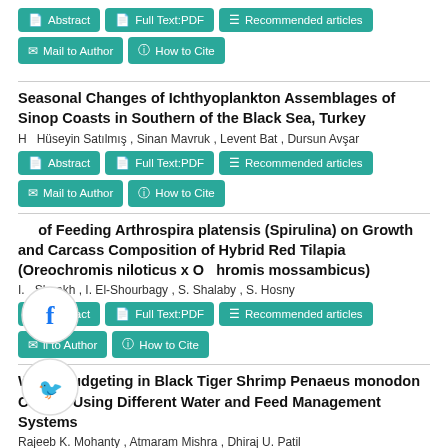Abstract | Full Text:PDF | Recommended articles | Mail to Author | How to Cite
Seasonal Changes of Ichthyoplankton Assemblages of Sinop Coasts in Southern of the Black Sea, Turkey
H... Hüseyin Satılmış , Sinan Mavruk , Levent Bat , Dursun Avşar
Abstract | Full Text:PDF | Recommended articles | Mail to Author | How to Cite
... of Feeding Arthrospira platensis (Spirulina) on Growth and Carcass Composition of Hybrid Red Tilapia (Oreochromis niloticus x O... hromis mossambicus)
I... Sheekh , I. El-Shourbagy , S. Shalaby , S. Hosny
Abstract | Full Text:PDF | Recommended articles | Mail to Author | How to Cite
Water Budgeting in Black Tiger Shrimp Penaeus monodon Culture Using Different Water and Feed Management Systems
Rajeeb K. Mohanty , Atmaram Mishra , Dhiraj U. Patil